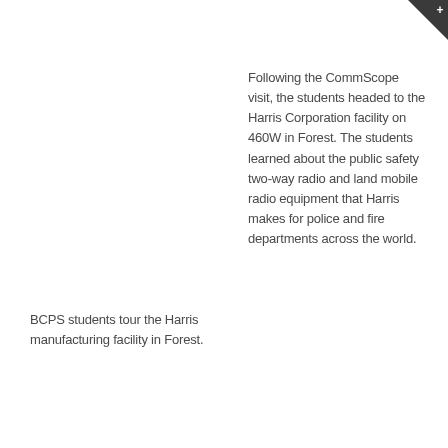BCPS students tour the Harris manufacturing facility in Forest.
Following the CommScope visit, the students headed to the Harris Corporation facility on 460W in Forest. The students learned about the public safety two-way radio and land mobile radio equipment that Harris makes for police and fire departments across the world.